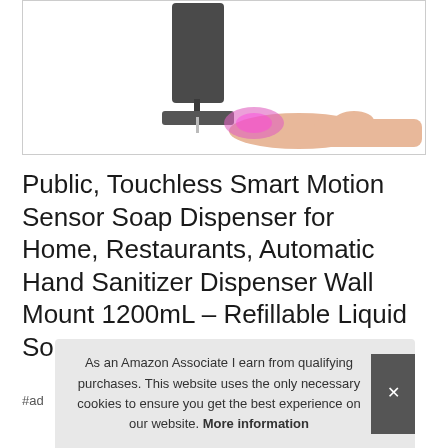[Figure (photo): Product photo of a touchless automatic soap/hand sanitizer dispenser (dark grey, wall-mount style) with a hand held underneath receiving a pink/purple soap dispense, against a white background.]
Public, Touchless Smart Motion Sensor Soap Dispenser for Home, Restaurants, Automatic Hand Sanitizer Dispenser Wall Mount 1200mL – Refillable Liquid So
#ad
As an Amazon Associate I earn from qualifying purchases. This website uses the only necessary cookies to ensure you get the best experience on our website. More information